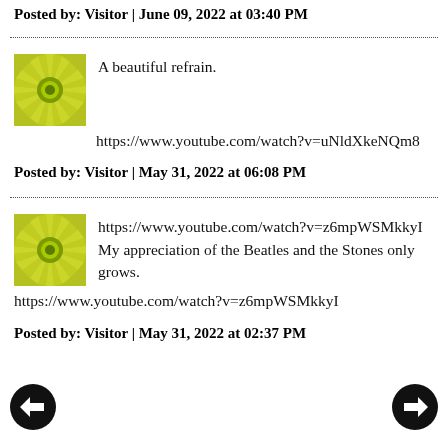Posted by: Visitor | June 09, 2022 at 03:40 PM
A beautiful refrain.

https://www.youtube.com/watch?v=uNldXkeNQm8
Posted by: Visitor | May 31, 2022 at 06:08 PM
https://www.youtube.com/watch?v=z6mpWSMkkyI My appreciation of the Beatles and the Stones only grows.

https://www.youtube.com/watch?v=z6mpWSMkkyI
Posted by: Visitor | May 31, 2022 at 02:37 PM